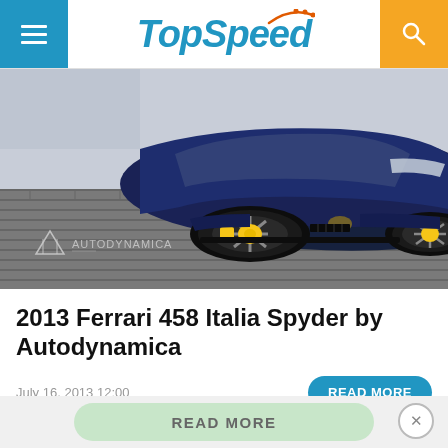TopSpeed
[Figure (photo): Dark blue Ferrari 458 Italia Spyder photographed from front-left angle on cobblestone surface, with Autodynamica logo watermark in bottom-left corner]
2013 Ferrari 458 Italia Spyder by Autodynamica
July 16, 2013 12:00
READ MORE
READ MORE